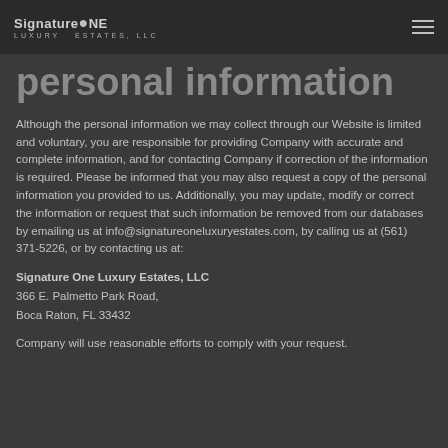Signature ONE Luxury Estates, LLC
personal information
Although the personal information we may collect through our Website is limited and voluntary, you are responsible for providing Company with accurate and complete information, and for contacting Company if correction of the information is required. Please be informed that you may also request a copy of the personal information you provided to us. Additionally, you may update, modify or correct the information or request that such information be removed from our databases by emailing us at info@signatureoneluxuryestates.com, by calling us at (561) 371-5226, or by contacting us at:
Signature One Luxury Estates, LLC
366 E. Palmetto Park Road,
Boca Raton, FL 33432
Company will use reasonable efforts to comply with your request.